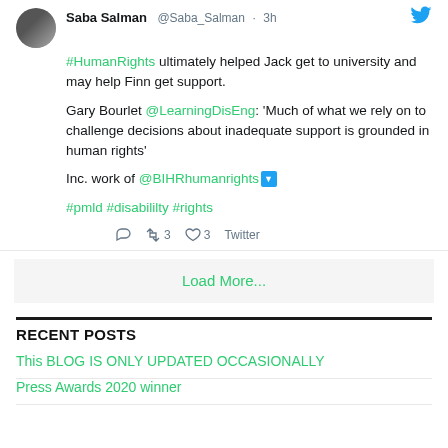[Figure (screenshot): Twitter/social media post by Saba Salman (@Saba_Salman, 3h ago) with avatar photo. Tweet text: '#HumanRights ultimately helped Jack get to university and may help Finn get support. Gary Bourlet @LearningDisEng: Much of what we rely on to challenge decisions about inadequate support is grounded in human rights. Inc. work of @BIHRhumanrights [blue badge]. #pmld #disabililty #rights'. Footer shows reply, 3 retweets, 3 likes, Twitter.]
Load More...
RECENT POSTS
This BLOG IS ONLY UPDATED OCCASIONALLY
Press Awards 2020 winner